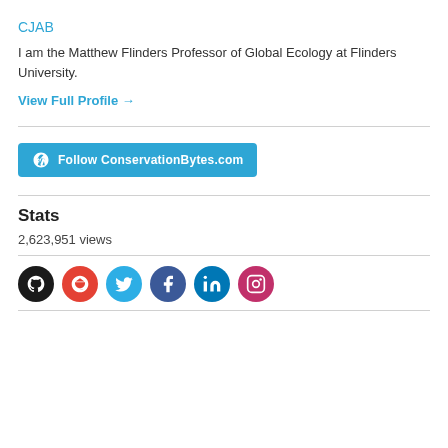CJAB
I am the Matthew Flinders Professor of Global Ecology at Flinders University.
View Full Profile →
[Figure (other): Follow ConservationBytes.com WordPress button]
Stats
2,623,951 views
[Figure (other): Social media icons: GitHub, Google Scholar, Twitter, Facebook, LinkedIn, Instagram]